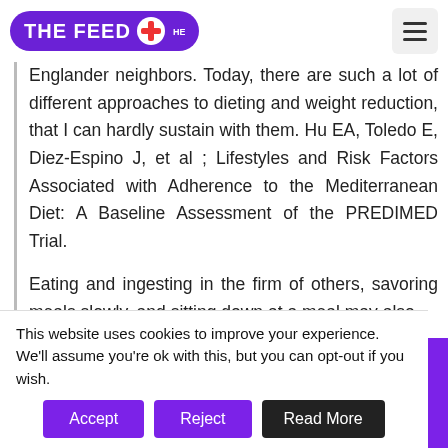THE FEED HEALTH
Englander neighbors. Today, there are such a lot of different approaches to dieting and weight reduction, that I can hardly sustain with them. Hu EA, Toledo E, Diez-Espino J, et al ; Lifestyles and Risk Factors Associated with Adherence to the Mediterranean Diet: A Baseline Assessment of the PREDIMED Trial.
Eating and ingesting in the firm of others, savoring meals slowly, and sitting down at a meal may also
This website uses cookies to improve your experience. We'll assume you're ok with this, but you can opt-out if you wish.